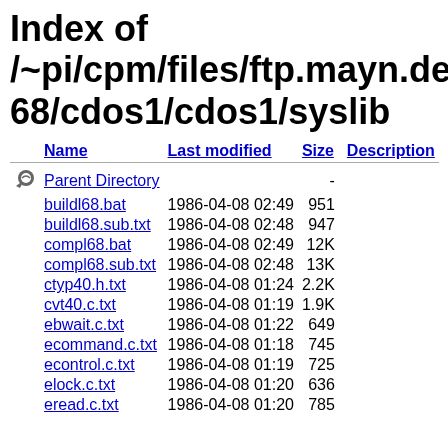Index of /~pi/cpm/files/ftp.mayn.de/pub/c68/cdos1/cdos1/syslib
|  | Name | Last modified | Size | Description |
| --- | --- | --- | --- | --- |
| [DIR] | Parent Directory |  | - |  |
|  | buildl68.bat | 1986-04-08 02:49 | 951 |  |
|  | buildl68.sub.txt | 1986-04-08 02:48 | 947 |  |
|  | compl68.bat | 1986-04-08 02:49 | 12K |  |
|  | compl68.sub.txt | 1986-04-08 02:48 | 13K |  |
|  | ctyp40.h.txt | 1986-04-08 01:24 | 2.2K |  |
|  | cvt40.c.txt | 1986-04-08 01:19 | 1.9K |  |
|  | ebwait.c.txt | 1986-04-08 01:22 | 649 |  |
|  | ecommand.c.txt | 1986-04-08 01:18 | 745 |  |
|  | econtrol.c.txt | 1986-04-08 01:19 | 725 |  |
|  | elock.c.txt | 1986-04-08 01:20 | 636 |  |
|  | eread.c.txt | 1986-04-08 01:20 | 785 |  |